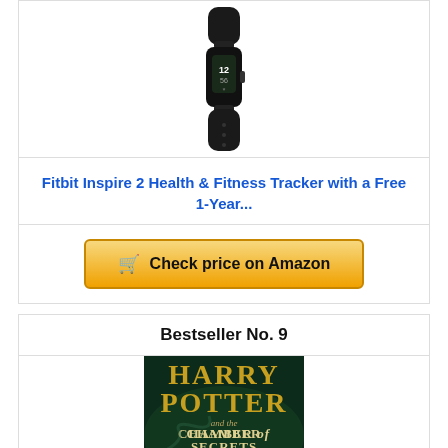[Figure (photo): Fitbit Inspire 2 fitness tracker device, black color, shown against white background]
Fitbit Inspire 2 Health & Fitness Tracker with a Free 1-Year...
Check price on Amazon
Bestseller No. 9
[Figure (photo): Harry Potter and the Chamber of Secrets book cover, dark green tones with title text]